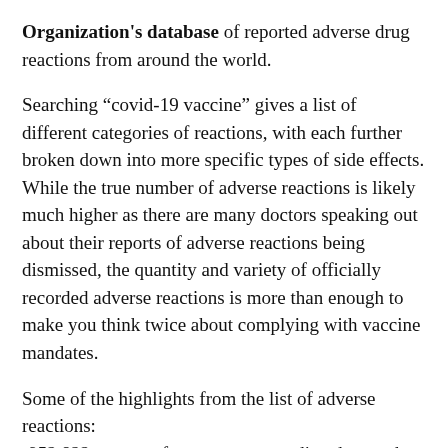Organization's database of reported adverse drug reactions from around the world.
Searching “covid-19 vaccine” gives a list of different categories of reactions, with each further broken down into more specific types of side effects.
While the true number of adverse reactions is likely much higher as there are many doctors speaking out about their reports of adverse reactions being dismissed, the quantity and variety of officially recorded adverse reactions is more than enough to make you think twice about complying with vaccine mandates.
Some of the highlights from the list of adverse reactions:
-952,822 reports of nervous system disorders such as tremors, seizures, loss of sensation, Bell’s palsy, and cerebrovascular “accidents”.
-119,464 reports of vascular disorders including